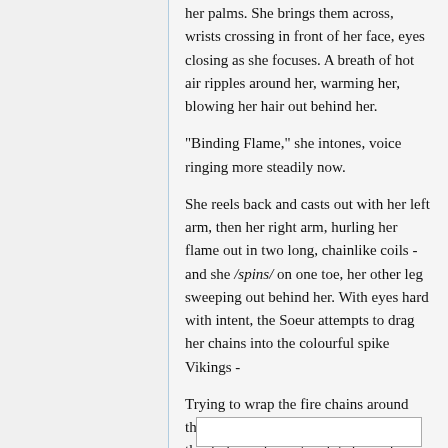her palms. She brings them across, wrists crossing in front of her face, eyes closing as she focuses. A breath of hot air ripples around her, warming her, blowing her hair out behind her.
"Binding Flame," she intones, voice ringing more steadily now.
She reels back and casts out with her left arm, then her right arm, hurling her flame out in two long, chainlike coils - and she /spins/ on one toe, her other leg sweeping out behind her. With eyes hard with intent, the Soeur attempts to drag her chains into the colourful spike Vikings -
Trying to wrap the fire chains around their ship, and bind it, and try to burn the darkness from it and its horned crew.
[Figure (other): White rectangular box outline at bottom of page]